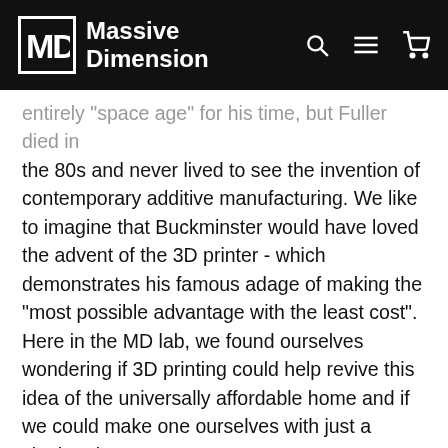MD Massive Dimension
entirely "space age" for his time, but Fuller died in the 80s and never lived to see the invention of contemporary additive manufacturing. We like to imagine that Buckminster would have loved the advent of the 3D printer - which demonstrates his famous adage of making the “most possible advantage with the least cost”. Here in the MD lab, we found ourselves wondering if 3D printing could help revive this idea of the universally affordable home and if we could make one ourselves with just a single printer.
We started this project with an .stl file created by Etsy user IndustrialCre8tions aka Joe LaRose. The file is a single print that repeats sixty times to